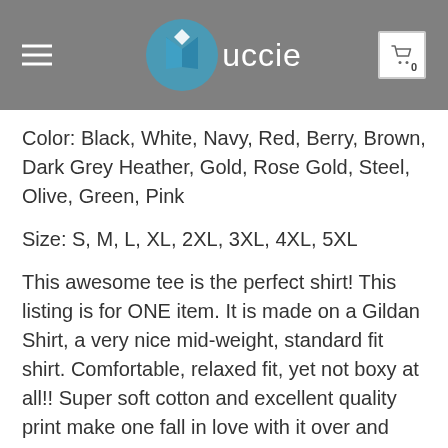Vuccie
Color: Black, White, Navy, Red, Berry, Brown, Dark Grey Heather, Gold, Rose Gold, Steel, Olive, Green, Pink
Size: S, M, L, XL, 2XL, 3XL, 4XL, 5XL
This awesome tee is the perfect shirt! This listing is for ONE item. It is made on a Gildan Shirt, a very nice mid-weight, standard fit shirt. Comfortable, relaxed fit, yet not boxy at all!! Super soft cotton and excellent quality print make one fall in love with it over and over again.
– Thankful Blessed With Turkey Shirt are pressed on a professional heat press.
– Runs true to size